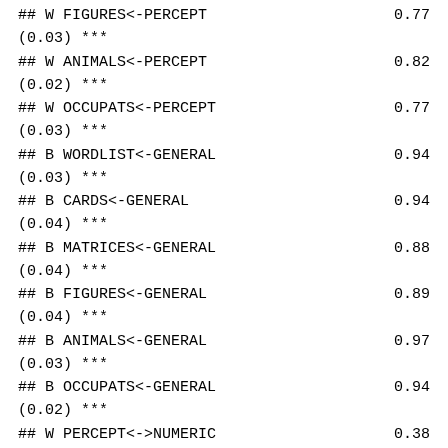## W FIGURES<-PERCEPT    0.77
(0.03) ***
## W ANIMALS<-PERCEPT    0.82
(0.02) ***
## W OCCUPATS<-PERCEPT   0.77
(0.03) ***
## B WORDLIST<-GENERAL   0.94
(0.03) ***
## B CARDS<-GENERAL      0.94
(0.04) ***
## B MATRICES<-GENERAL   0.88
(0.04) ***
## B FIGURES<-GENERAL    0.89
(0.04) ***
## B ANIMALS<-GENERAL    0.97
(0.03) ***
## B OCCUPATS<-GENERAL   0.94
(0.02) ***
## W PERCEPT<->NUMERIC   0.38
(0.05) ***